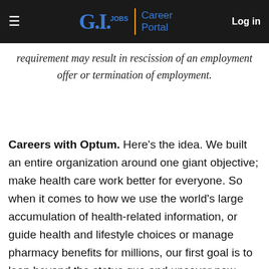G.I. Jobs | Career Portal   Log in
requirement may result in rescission of an employment offer or termination of employment.
Careers with Optum. Here's the idea. We built an entire organization around one giant objective; make health care work better for everyone. So when it comes to how we use the world's large accumulation of health-related information, or guide health and lifestyle choices or manage pharmacy benefits for millions, our first goal is to leap beyond the status quo and uncover new